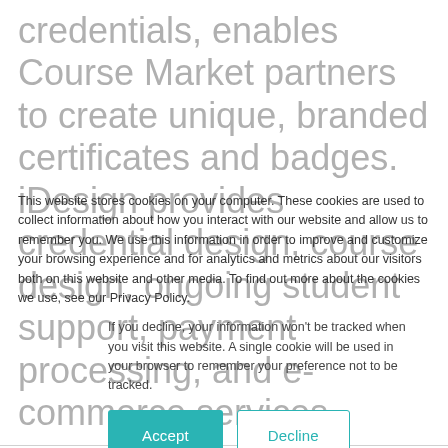credentials, enables Course Market partners to create unique, branded certificates and badges. iDesign provides credential design, course design, ongoing student support, payment processing, and e-commerce services.
This website stores cookies on your computer. These cookies are used to collect information about how you interact with our website and allow us to remember you. We use this information in order to improve and customize your browsing experience and for analytics and metrics about our visitors both on this website and other media. To find out more about the cookies we use, see our Privacy Policy.
If you decline, your information won't be tracked when you visit this website. A single cookie will be used in your browser to remember your preference not to be tracked.